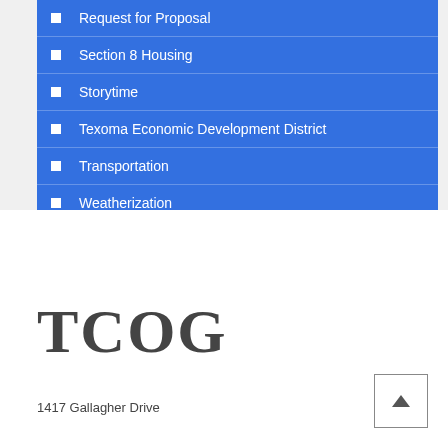Request for Proposal
Section 8 Housing
Storytime
Texoma Economic Development District
Transportation
Weatherization
[Figure (logo): TCOG logo in large serif bold dark gray text]
1417 Gallagher Drive